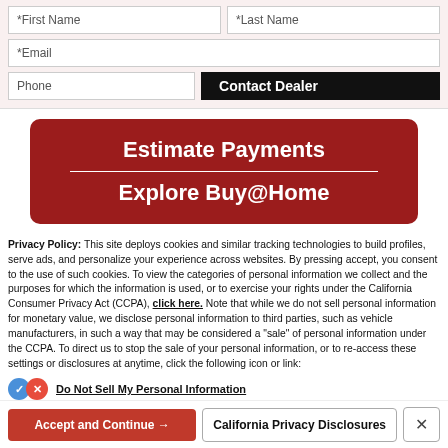[Figure (screenshot): Web form with First Name, Last Name, Email, Phone fields and Contact Dealer button]
[Figure (screenshot): Red banner with 'Estimate Payments' and 'Explore Buy@Home' text and a divider line]
Privacy Policy: This site deploys cookies and similar tracking technologies to build profiles, serve ads, and personalize your experience across websites. By pressing accept, you consent to the use of such cookies. To view the categories of personal information we collect and the purposes for which the information is used, or to exercise your rights under the California Consumer Privacy Act (CCPA), click here. Note that while we do not sell personal information for monetary value, we disclose personal information to third parties, such as vehicle manufacturers, in such a way that may be considered a "sale" of personal information under the CCPA. To direct us to stop the sale of your personal information, or to re-access these settings or disclosures at anytime, click the following icon or link:
Do Not Sell My Personal Information
Language: English ∨   Powered by ComplyAuto
Accept and Continue →   California Privacy Disclosures   ×